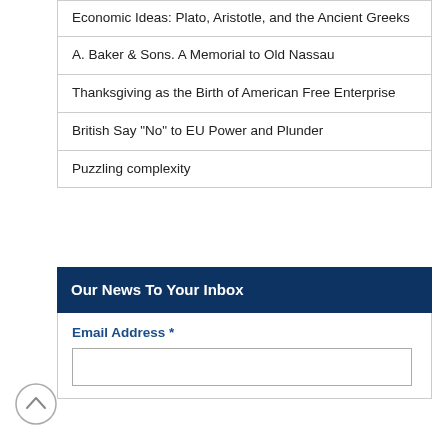Economic Ideas: Plato, Aristotle, and the Ancient Greeks
A. Baker & Sons. A Memorial to Old Nassau
Thanksgiving as the Birth of American Free Enterprise
British Say "No" to EU Power and Plunder
Puzzling complexity
Our News To Your Inbox
Email Address *